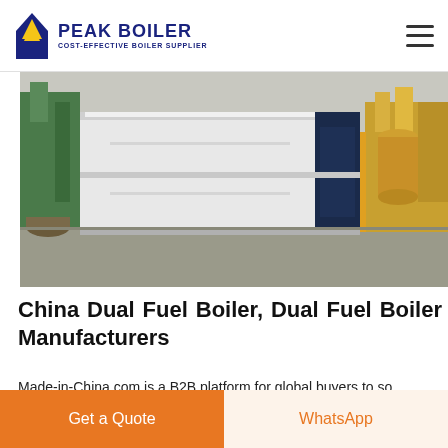PEAK BOILER — COST-EFFECTIVE BOILER SUPPLIER
[Figure (photo): Industrial boiler unit in a factory setting, showing a large white rectangular boiler with a dark blue door panel on the right side, surrounded by pipes and industrial equipment.]
China Dual Fuel Boiler, Dual Fuel Boiler Manufacturers
Made-in-China.com is a B2B platform for global buyers to source Chinese Dual Fuel Boiler products and Chinese Dual Fuel Boiler manufacturers. You can send your questions like minimum quant...
Get price
Get a Quote
WhatsApp